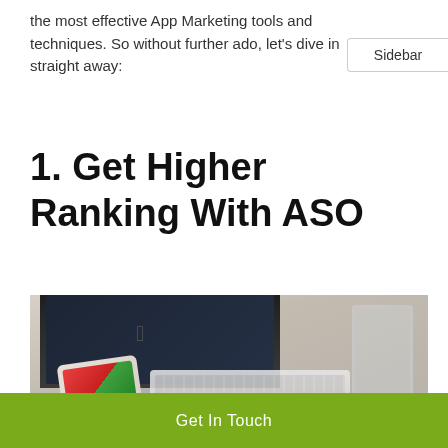the most effective App Marketing tools and techniques. So without further ado, let's dive in straight away:
Sidebar
1. Get Higher Ranking With ASO
[Figure (photo): Photo of an iMac computer on a wooden desk with an Apple wireless keyboard, a glass of water, and a smartphone showing app icons.]
Get In Touch